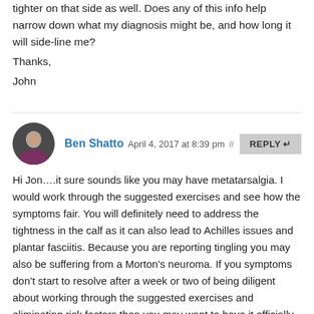tighter on that side as well. Does any of this info help narrow down what my diagnosis might be, and how long it will side-line me?
Thanks,
John
Ben Shatto April 4, 2017 at 8:39 pm # — Hi Jon….it sure sounds like you may have metatarsalgia. I would work through the suggested exercises and see how the symptoms fair. You will definitely need to address the tightness in the calf as it can also lead to Achilles issues and plantar fasciitis. Because you are reporting tingling you may also be suffering from a Morton's neuroma. If you symptoms don't start to resolve after a week or two of being diligent about working through the suggested exercises and eliminating risk factors then you may want to have it officially looked at by a medical professional. Ben